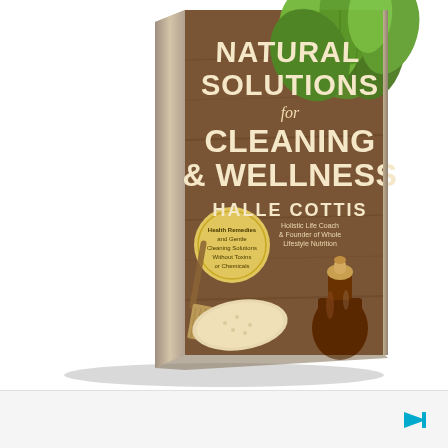[Figure (photo): Book cover of 'Natural Solutions for Cleaning & Wellness' by Halle Cottis. The book is shown in a 3D perspective/angled view. The cover features a rustic wooden background with fresh green herbs (mint), a brown glass bottle with a cork stopper, a broom/brush, and what appears to be a cracker or flatbread. The title text reads 'NATURAL SOLUTIONS for CLEANING & WELLNESS' in large white and tan lettering. Below the title is the author name 'HALLE COTTIS' and subtitle 'Holistic Life Coach & Founder of Whole Lifestyle Nutrition'. There is a circular badge that reads 'Health Remedies and Gentle Cleaning Solutions Without Toxins or Chemicals'.]